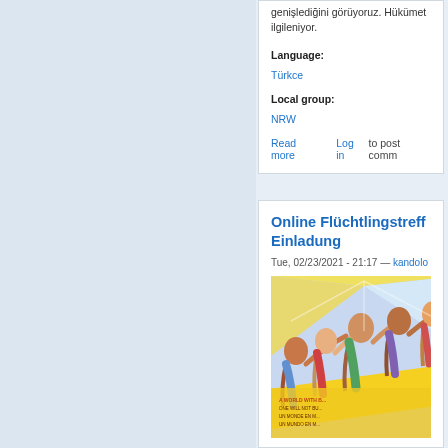genişlediğini görüyoruz. Hükümet... ilgileniyor.
Language:
Türkce
Local group:
NRW
Read more   Log in to post comm...
Online Flüchtlingstreff... Einladung
Tue, 02/23/2021 - 21:17 — kandolo
[Figure (illustration): A colorful painted mural showing a group of people reaching forward together, holding a banner with multilingual text about a world with no borders. Vibrant colors including blues, reds, greens, and yellows.]